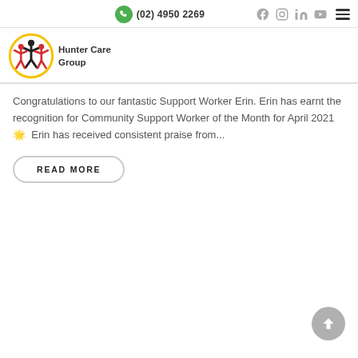(02) 4950 2269
[Figure (logo): Hunter Care Group logo with stylized figures in red, black and yellow, and text 'Hunter Care Group']
Congratulations to our fantastic Support Worker Erin. Erin has earnt the recognition for Community Support Worker of the Month for April 2021 🌟  Erin has received consistent praise from...
READ MORE